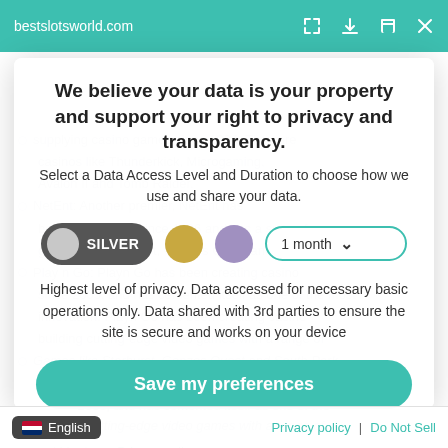bestslotsworld.com
We believe your data is your property and support your right to privacy and transparency.
Select a Data Access Level and Duration to choose how we use and share your data.
SILVER | 1 month — privacy level selector
Highest level of privacy. Data accessed for necessary basic operations only. Data shared with 3rd parties to ensure the site is secure and works on your device
Save my preferences
English | Privacy policy | Do Not Sell